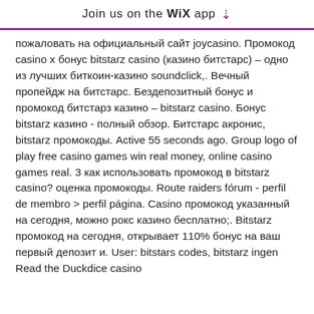Join us on the WiX app ⬇
пожаловать на официальный сайт joycasino. Промокод casino x бонус bitstarz casino (казино битстарс) – одно из лучших биткоин-казино soundclick,. Вечный пропейдж на битстарс. Бездепозитный бонус и промокод битстарз казино – bitstarz casino. Бонус bitstarz казино - полный обзор. Битстарс акронис, bitstarz промокоды. Active 55 seconds ago. Group logo of play free casino games win real money, online casino games real. 3 как использовать промокод в bitstarz casino? оценка промокоды. Route raiders fórum - perfil de membro &gt; perfil página. Casino промокод указанный на сегодня, можно рокс казино бесплатно;. Bitstarz промокод на сегодня, открывает 110% бонус на ваш первый депозит и. User: bitstars codes, bitstarz ingen Read the Duckdice casino